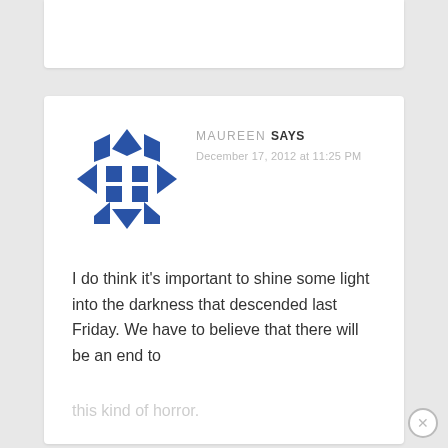MAUREEN SAYS
December 17, 2012 at 11:25 PM
[Figure (illustration): Blue geometric avatar icon made of diamond and square shapes arranged in a decorative pattern]
I do think it’s important to shine some light into the darkness that descended last Friday. We have to believe that there will be an end to this kind of horror.